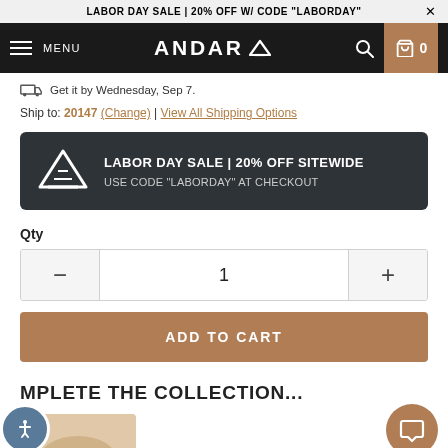LABOR DAY SALE | 20% OFF W/ CODE "LABORDAY"  ×
MENU  ANDAR  0
Get it by Wednesday, Sep 7.
Ship to: 20147 (Change) | View All Shipping Options
[Figure (infographic): Dark promo banner with Andar logo triangle and text: LABOR DAY SALE | 20% OFF SITEWIDE / USE CODE "LABORDAY" AT CHECKOUT]
Qty
1
ADD TO CART
MPLETE THE COLLECTION...